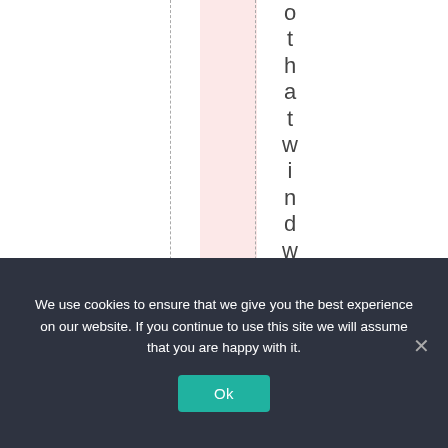[Figure (other): Web page layout with vertical text reading 'o t h a t w i n d w i l l e v e r' displayed character by character top to bottom, with dashed vertical guide lines and a pink highlighted column band.]
We use cookies to ensure that we give you the best experience on our website. If you continue to use this site we will assume that you are happy with it. Ok